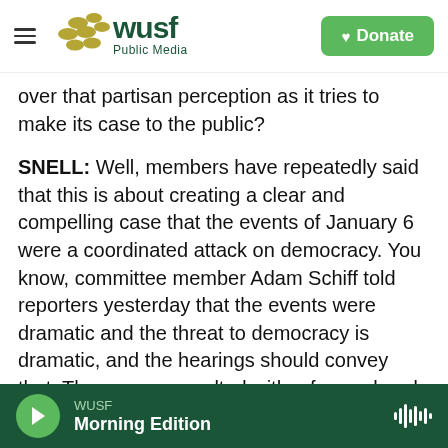WUSF Public Media — Donate
over that partisan perception as it tries to make its case to the public?
SNELL: Well, members have repeatedly said that this is about creating a clear and compelling case that the events of January 6 were a coordinated attack on democracy. You know, committee member Adam Schiff told reporters yesterday that the events were dramatic and the threat to democracy is dramatic, and the hearings should convey that. They even consulted with a former head of ABC on how to present their case. But Jamie Raskin, another Democrat on the
WUSF Morning Edition